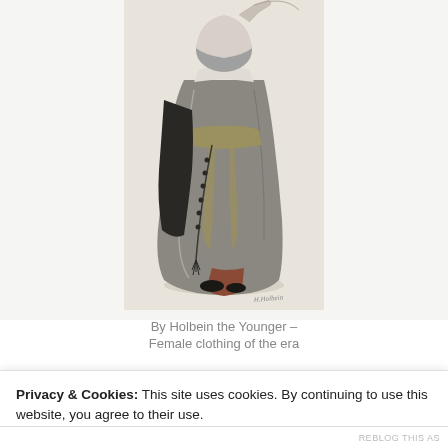[Figure (illustration): A watercolor/sketch illustration by Holbein the Younger showing a woman in draped grey robes holding a parasol/fan, with a long beaded necklace or rosary hanging down, wearing black shoes, depicted from approximately the waist up. The figure shows female clothing of the era.]
By Holbein the Younger –
Female clothing of the era
Privacy & Cookies: This site uses cookies. By continuing to use this website, you agree to their use.
To find out more, including how to control cookies, see here: Cookie Policy